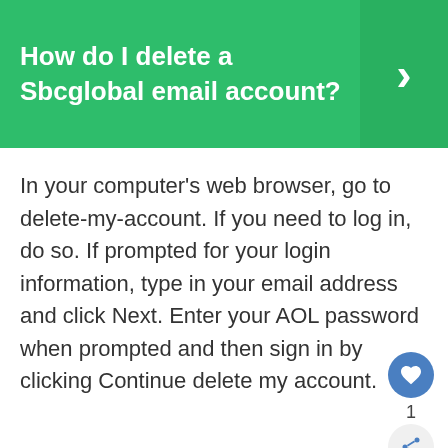How do I delete a Sbcglobal email account?
In your computer's web browser, go to delete-my-account. If you need to log in, do so. If prompted for your login information, type in your email address and click Next. Enter your AOL password when prompted and then sign in by clicking Continue delete my account.